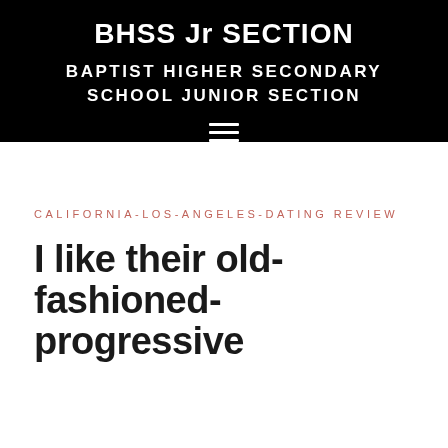BHSS Jr SECTION
BAPTIST HIGHER SECONDARY SCHOOL JUNIOR SECTION
[Figure (other): Hamburger menu icon (three horizontal white lines on black background)]
CALIFORNIA-LOS-ANGELES-DATING REVIEW
I like their old-fashioned-progressive